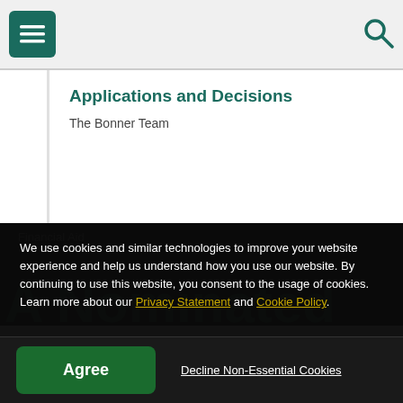Menu | Search
Applications and Decisions
The Bonner Team
We use cookies and similar technologies to improve your website experience and help us understand how you use our website. By continuing to use this website, you consent to the usage of cookies. Learn more about our Privacy Statement and Cookie Policy.
Agree
Decline Non-Essential Cookies